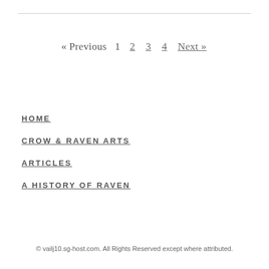« Previous  1  2  3  4  Next »
HOME
CROW & RAVEN ARTS
ARTICLES
A HISTORY OF RAVEN
© vailj10.sg-host.com. All Rights Reserved except where attributed.